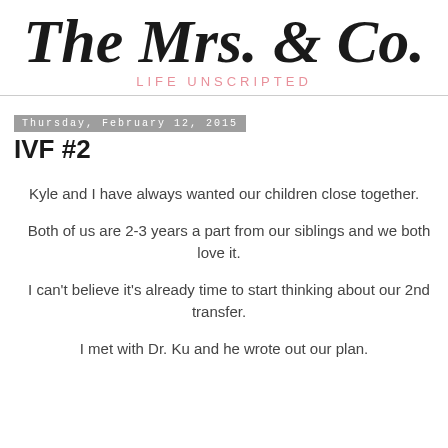The Mrs. & Co.
LIFE UNSCRIPTED
Thursday, February 12, 2015
IVF #2
Kyle and I have always wanted our children close together.
Both of us are 2-3 years a part from our siblings and we both love it.
I can't believe it's already time to start thinking about our 2nd transfer.
I met with Dr. Ku and he wrote out our plan.